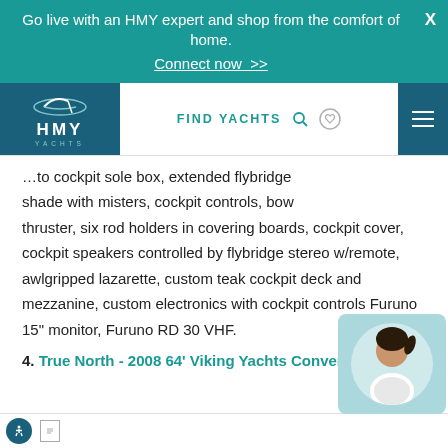Go live with an HMY expert and shop from the comfort of home. Connect now >>
[Figure (logo): HMY Yachts logo — white boat icon over dark teal background with HMY YACHTS text]
to cockpit sole box, extended flybridge shade with misters, cockpit controls, bow thruster, six rod holders in covering boards, cockpit cover, cockpit speakers controlled by flybridge stereo w/remote, awlgripped lazarette, custom teak cockpit deck and mezzanine, custom electronics with cockpit controls Furuno 15" monitor, Furuno RD 30 VHF.
4. True North - 2008 64' Viking Yachts Convertible
[Figure (photo): Chat widget showing a woman with dark hair in ponytail against light teal background]